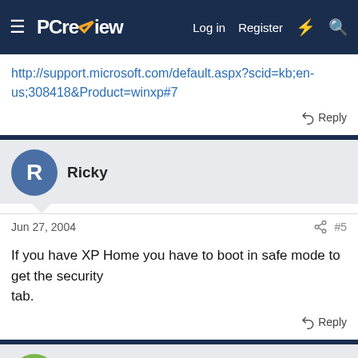PCreview — Log in | Register
http://support.microsoft.com/default.aspx?scid=kb;en-us;308418&Product=winxp#7
Reply
Ricky
Jun 27, 2004 #5
If you have XP Home you have to boot in safe mode to get the security tab.
Reply
Guest